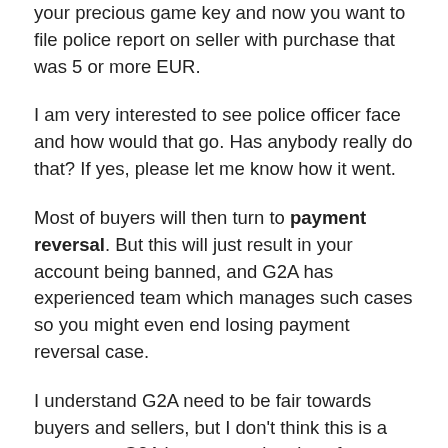your precious game key and now you want to file police report on seller with purchase that was 5 or more EUR.
I am very interested to see police officer face and how would that go. Has anybody really do that? If yes, please let me know how it went.
Most of buyers will then turn to payment reversal. But this will just result in your account being banned, and G2A has experienced team which manages such cases so you might even end losing payment reversal case.
I understand G2A need to be fair towards buyers and sellers, but I don't think this is a way to go. G2A is great marketplace for game keys with its pros and cons, and MBG is definitely one of the